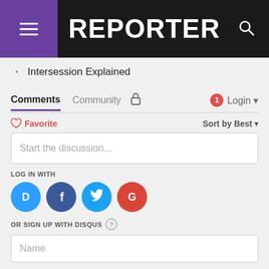REPORTER
Intersession Explained
Comments  Community  Login
Favorite  Sort by Best
Start the discussion…
LOG IN WITH
[Figure (logo): Social login icons: Disqus (blue), Facebook (dark blue), Twitter (light blue), Google (red)]
OR SIGN UP WITH DISQUS
Name